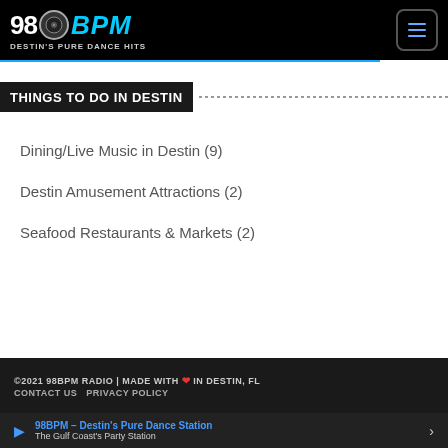98BPM DESTIN'S PURE DANCE HITS
THINGS TO DO IN DESTIN
Dining/Live Music in Destin (9)
Destin Amusement Attractions (2)
Seafood Restaurants & Markets (2)
©2021 98BPM RADIO | MADE WITH ❤ IN DESTIN, FL
CONTACT US  PRIVACY POLICY
98BPM – Destin's Pure Dance Station
The Gulf Coast's Party Station